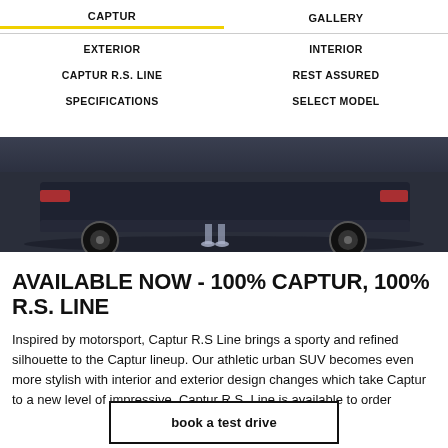CAPTUR | GALLERY
EXTERIOR
INTERIOR
CAPTUR R.S. LINE
REST ASSURED
SPECIFICATIONS
SELECT MODEL
[Figure (photo): Bottom portion of a Renault Captur RS Line vehicle photographed from the rear, on a dark urban road surface, showing the wheels and lower body.]
AVAILABLE NOW - 100% CAPTUR, 100% R.S. LINE
Inspired by motorsport, Captur R.S Line brings a sporty and refined silhouette to the Captur lineup. Our athletic urban SUV becomes even more stylish with interior and exterior design changes which take Captur to a new level of impressive. Captur R.S. Line is available to order
book a test drive